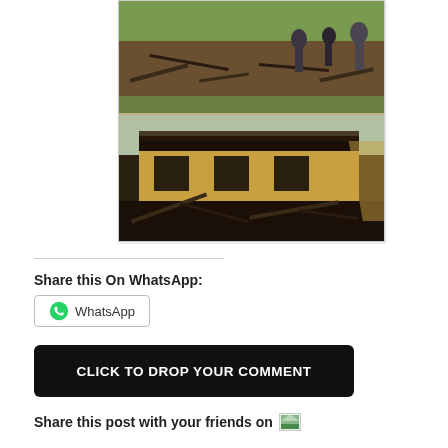[Figure (photo): Two stacked photos showing fire damage and ruins of buildings, with debris and burnt structures. Top photo shows people standing near debris. Bottom photo shows burnt-out building facade with collapsed roof.]
Share this On WhatsApp:
WhatsApp
CLICK TO DROP YOUR COMMENT
Share this post with your friends on